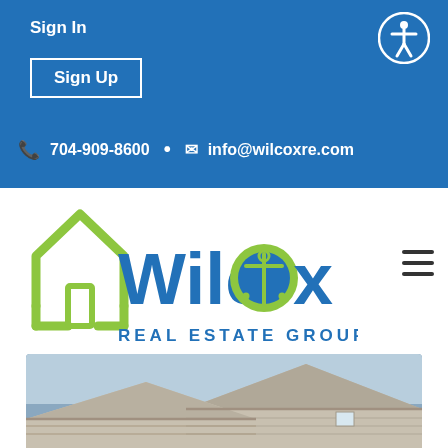Sign In
Sign Up
704-909-8600 · info@wilcoxre.com
[Figure (logo): Wilcox Real Estate Group logo with green house outline and anchor in the letter O]
[Figure (photo): Exterior roofline of suburban homes against blue sky]